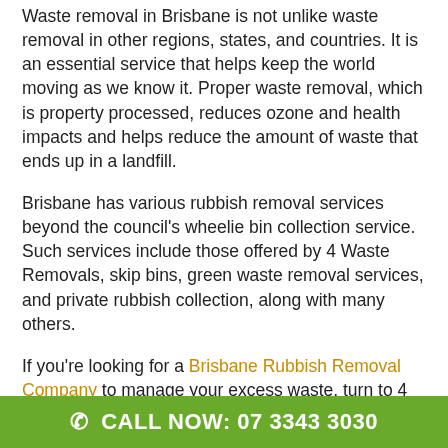Waste removal in Brisbane is not unlike waste removal in other regions, states, and countries. It is an essential service that helps keep the world moving as we know it. Proper waste removal, which is property processed, reduces ozone and health impacts and helps reduce the amount of waste that ends up in a landfill.
Brisbane has various rubbish removal services beyond the council's wheelie bin collection service. Such services include those offered by 4 Waste Removals, skip bins, green waste removal services, and private rubbish collection, along with many others.
If you're looking for a Brisbane Rubbish Removal Company to manage your excess waste, turn to 4
CALL NOW: 07 3343 3030